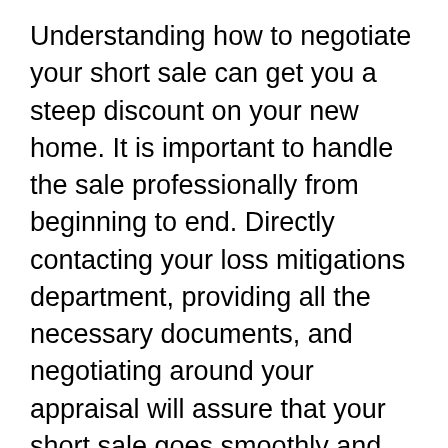Understanding how to negotiate your short sale can get you a steep discount on your new home. It is important to handle the sale professionally from beginning to end. Directly contacting your loss mitigations department, providing all the necessary documents, and negotiating around your appraisal will assure that your short sale goes smoothly and you walk away with the home you want.
Finding the right home- Many websites are dedicated to short sale and foreclosed homes. Search within your specified criteria and locate a home that is the right match for